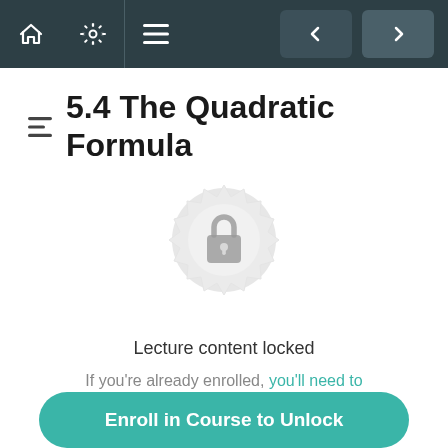Navigation bar with home, settings, menu icons and navigation arrows
5.4 The Quadratic Formula
[Figure (illustration): A grey decorative rosette/badge with a padlock icon in the center, indicating locked content]
Lecture content locked
If you're already enrolled, you'll need to login.
Enroll in Course to Unlock